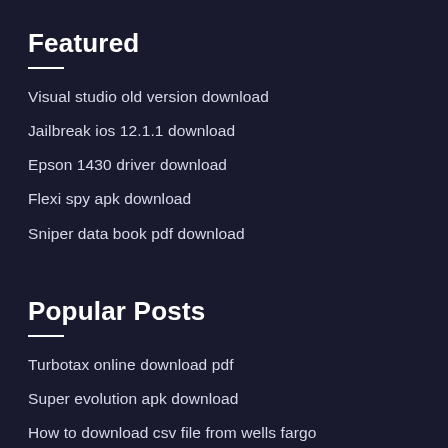Featured
Visual studio old version download
Jailbreak ios 12.1.1 download
Epson 1430 driver download
Flexi spy apk download
Sniper data book pdf download
Popular Posts
Turbotax online download pdf
Super evolution apk download
How to download csv file from wells fargo
Brother lc101 driver download
How to delete downloads on an android lg